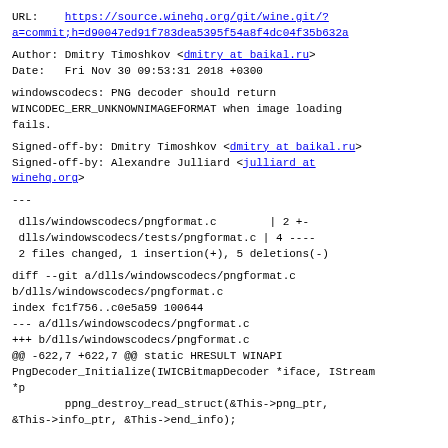URL:    https://source.winehq.org/git/wine.git/?a=commit;h=d90047ed91f783dea5395f54a8f4dc04f35b632a
Author: Dmitry Timoshkov <dmitry at baikal.ru>
Date:   Fri Nov 30 09:53:31 2018 +0300
windowscodecs: PNG decoder should return WINCODEC_ERR_UNKNOWNIMAGEFORMAT when image loading fails.
Signed-off-by: Dmitry Timoshkov <dmitry at baikal.ru>
Signed-off-by: Alexandre Julliard <julliard at winehq.org>
---
dlls/windowscodecs/pngformat.c        | 2 +-
 dlls/windowscodecs/tests/pngformat.c | 4 ----
 2 files changed, 1 insertion(+), 5 deletions(-)
diff --git a/dlls/windowscodecs/pngformat.c b/dlls/windowscodecs/pngformat.c
index fc1f756..c0e5a59 100644
--- a/dlls/windowscodecs/pngformat.c
+++ b/dlls/windowscodecs/pngformat.c
@@ -622,7 +622,7 @@ static HRESULT WINAPI PngDecoder_Initialize(IWICBitmapDecoder *iface, IStream *p
        ppng_destroy_read_struct(&This->png_ptr,
&This->info_ptr, &This->end_info);